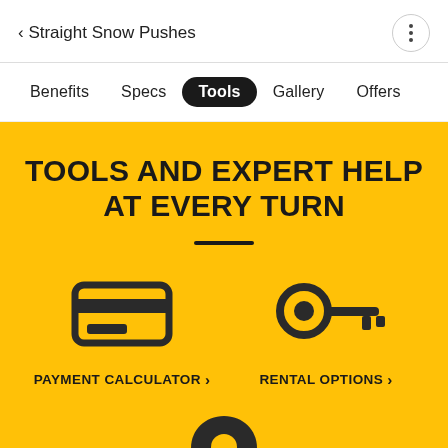< Straight Snow Pushes
Benefits  Specs  Tools  Gallery  Offers
TOOLS AND EXPERT HELP AT EVERY TURN
[Figure (illustration): Credit card icon representing Payment Calculator]
PAYMENT CALCULATOR >
[Figure (illustration): Key icon representing Rental Options]
RENTAL OPTIONS >
[Figure (illustration): Location pin icon (partially visible at bottom)]